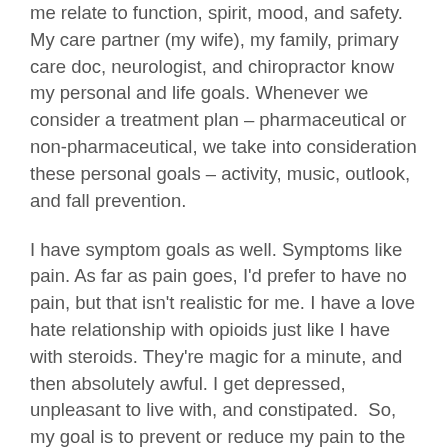me relate to function, spirit, mood, and safety. My care partner (my wife), my family, primary care doc, neurologist, and chiropractor know my personal and life goals. Whenever we consider a treatment plan – pharmaceutical or non-pharmaceutical, we take into consideration these personal goals – activity, music, outlook, and fall prevention.
I have symptom goals as well. Symptoms like pain. As far as pain goes, I'd prefer to have no pain, but that isn't realistic for me. I have a love hate relationship with opioids just like I have with steroids. They're magic for a minute, and then absolutely awful. I get depressed, unpleasant to live with, and constipated. So, my goal is to prevent or reduce my pain to the point that the pain doesn't consume me. Consume me, means that I can't do anything. Mostly, I try to keep pain below a threshold where I can live life – activity, music, mood, not falling – my personal goals. Staying below that threshold means